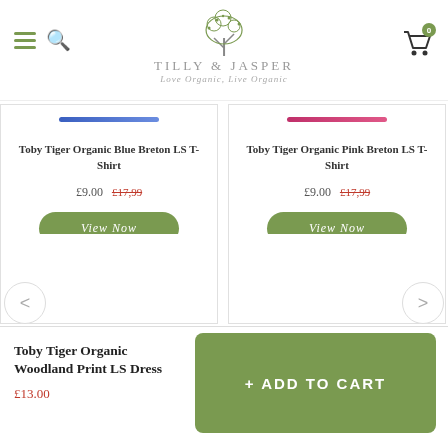Tilly & Jasper — Love Organic, Live Organic
Toby Tiger Organic Blue Breton LS T-Shirt
£9.00 £17,99
Toby Tiger Organic Pink Breton LS T-Shirt
£9.00 £17,99
Toby Tiger Organic Woodland Print LS Dress
£13.00
View Now
View Now
+ ADD TO CART